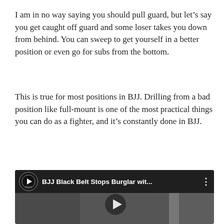I am in no way saying you should pull guard, but let’s say you get caught off guard and some loser takes you down from behind. You can sweep to get yourself in a better position or even go for subs from the bottom.
This is true for most positions in BJJ. Drilling from a bad position like full-mount is one of the most practical things you can do as a fighter, and it’s constantly done in BJJ.
[Figure (screenshot): YouTube video thumbnail showing 'BJJ Black Belt Stops Burglar wit...' with a play button overlay. Shows two people on the ground, one restraining the other. Channel logo visible in top left.]